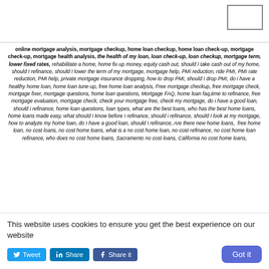[Figure (other): Small empty rectangular box in the top-right corner, likely a logo placeholder]
online mortgage analysis, mortgage checkup, home loan checkup, home loan check-up, mortgage check-up, mortgage health analysis, the health of my loan, loan check-up, loan checkup, mortgage term, lower fixed rates, rehabilitate a home, home fix up money, equity cash out, should I take cash out of my home, should I refinance, should I lower the term of my mortgage, mortgage help, PMI reduction, ride PMI, PMI rate reduction, PMI help, private mortgage insurance dropping, how to drop PMI, should I drop PMI, do i have a healthy home loan, home loan tune-up, free home loan analysis, Free mortgage checkup, free mortgage check, mortgage fixer, mortgage questions, home loan questions, Mortgage FAQ, home loan faq,time to refinance, free mortgage evaluation, mortgage check, check your mortgage free, check my mortgage, do i have a good loan, should i refinance, home loan questions, loan types, what are the best loans, who has the best home loans, home loans made easy, what should I know before I refinance, should i refinance, should I look at my mortgage, how to analyze my home loan, do I have a good loan, should I refinance, Are there new home loans, free home loan, no cost loans, no cost home loans, what is a no cost home loan, no-cost refinance, no cost home loan refinance, who does no cost home loans, Sacramento no cost loans, California no cost home loans,
This website uses cookies to ensure you get the best experience on our website